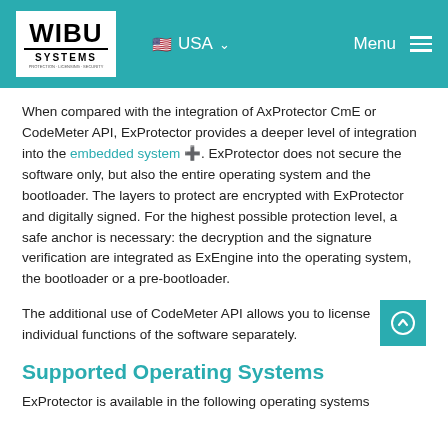WIBU SYSTEMS — USA Menu
When compared with the integration of AxProtector CmE or CodeMeter API, ExProtector provides a deeper level of integration into the embedded system. ExProtector does not secure the software only, but also the entire operating system and the bootloader. The layers to protect are encrypted with ExProtector and digitally signed. For the highest possible protection level, a safe anchor is necessary: the decryption and the signature verification are integrated as ExEngine into the operating system, the bootloader or a pre-bootloader.
The additional use of CodeMeter API allows you to license individual functions of the software separately.
Supported Operating Systems
ExProtector is available in the following operating systems...